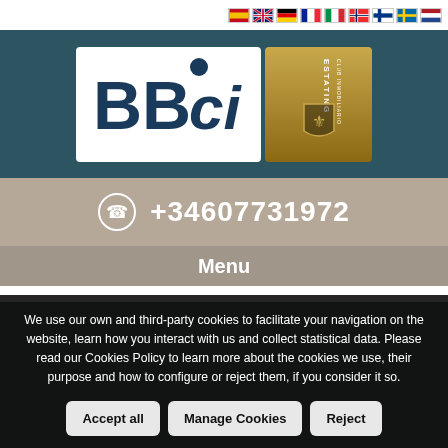Flag icons: ES, EN, DE, FR, IT, NO, FI, SV, NL
[Figure (logo): BBCi and Estating Club Inmobiliario logos on dark teal background]
+34607731972
Menu
We use our own and third-party cookies to facilitate your navigation on the website, learn how you interact with us and collect statistical data. Please read our Cookies Policy to learn more about the cookies we use, their purpose and how to configure or reject them, if you consider it so.
Accept all | Manage Cookies | Reject